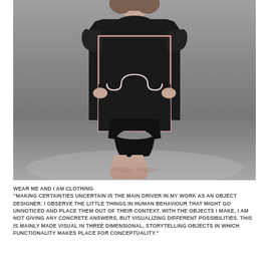[Figure (photo): A fashion model on a runway wearing a large black structured garment/bib piece over a black bodysuit, holding up a rectangular pink-outlined frame in front of her torso. The frame contains a cutout shape suggesting a stylized torso/breast form in white outline. The model's legs are bare and she stands on a light grey runway floor.]
WEAR ME AND I AM CLOTHING
"MAKING CERTAINTIES UNCERTAIN IS THE MAIN DRIVER IN MY WORK AS AN OBJECT DESIGNER. I OBSERVE THE LITTLE THINGS IN HUMAN BEHAVIOUR THAT MIGHT GO UNNOTICED AND PLACE THEM OUT OF THEIR CONTEXT. WITH THE OBJECTS I MAKE, I AM NOT GIVING ANY CONCRETE ANSWERS, BUT VISUALIZING DIFFERENT POSSIBILITIES. THIS IS MAINLY MADE VISUAL IN THREE DIMENSIONAL, STORYTELLING OBJECTS IN WHICH FUNCTIONALITY MAKES PLACE FOR CONCEPTUALITY."